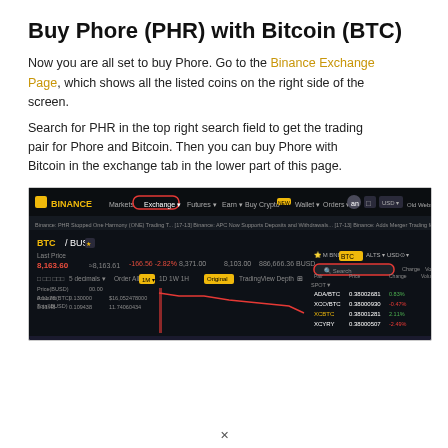Buy Phore (PHR) with Bitcoin (BTC)
Now you are all set to buy Phore. Go to the Binance Exchange Page, which shows all the listed coins on the right side of the screen.
Search for PHR in the top right search field to get the trading pair for Phore and Bitcoin. Then you can buy Phore with Bitcoin in the exchange tab in the lower part of this page.
[Figure (screenshot): Screenshot of Binance Exchange page showing BTC/BUSD trading pair with a search box circled in red on the right side, and the Exchange menu item circled in red in the top navigation bar.]
x